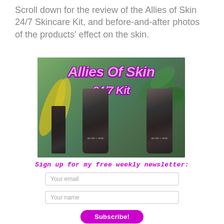Scroll down for the review of the Allies of Skin 24/7 Skincare Kit, and before-and-after photos of the products' effect on the skin.
[Figure (photo): Photo of Allies of Skin 24/7 Kit products - three dark tubes/containers against a green outdoor background, with 'Allies Of Skin 24/7 Kit' text overlaid in pink cursive lettering]
Sign up for my free weekly newsletter:
Your email
Your name
Subscribe!